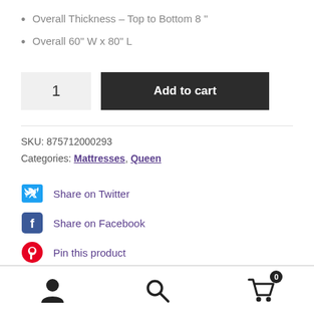Overall Thickness – Top to Bottom 8 "
Overall 60" W x 80" L
1  Add to cart
SKU: 875712000293
Categories: Mattresses, Queen
Share on Twitter
Share on Facebook
Pin this product